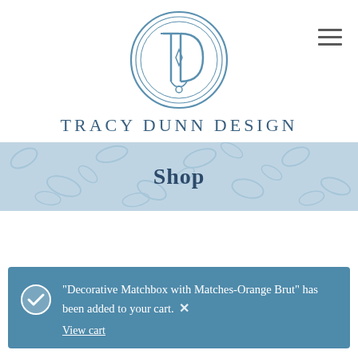[Figure (logo): Tracy Dunn Design circular logo in steel blue with interlocking T and D letters inside decorative double-ring border]
Tracy Dunn Design
Shop
"Decorative Matchbox with Matches-Orange Brut" has been added to your cart. ×
View cart